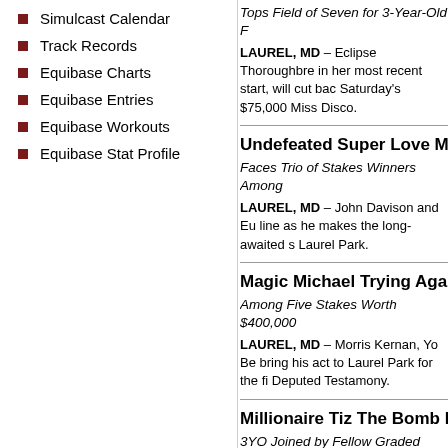Simulcast Calendar
Track Records
Equibase Charts
Equibase Entries
Equibase Workouts
Equibase Stat Profile
Tops Field of Seven for 3-Year-Old F...
LAUREL, MD – Eclipse Thoroughbre... in her most recent start, will cut bac... Saturday's $75,000 Miss Disco.
Undefeated Super Love M...
Faces Trio of Stakes Winners Among...
LAUREL, MD – John Davison and Eu... line as he makes the long-awaited s... Laurel Park.
Magic Michael Trying Aga...
Among Five Stakes Worth $400,000...
LAUREL, MD – Morris Kernan, Yo Be... bring his act to Laurel Park for the fi... Deputed Testamony.
Millionaire Tiz The Bomb I...
3YO Joined by Fellow Graded Winne... Stakes-Winning Stablemates Spa...